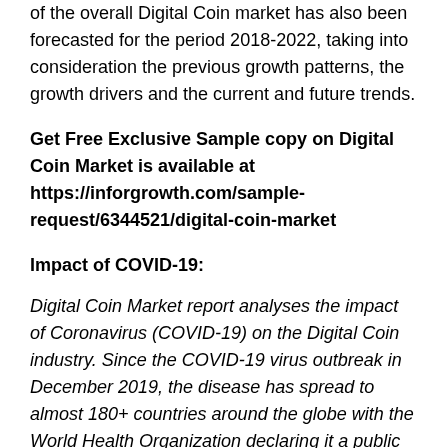of the overall Digital Coin market has also been forecasted for the period 2018-2022, taking into consideration the previous growth patterns, the growth drivers and the current and future trends.
Get Free Exclusive Sample copy on Digital Coin Market is available at https://inforgrowth.com/sample-request/6344521/digital-coin-market
Impact of COVID-19:
Digital Coin Market report analyses the impact of Coronavirus (COVID-19) on the Digital Coin industry. Since the COVID-19 virus outbreak in December 2019, the disease has spread to almost 180+ countries around the globe with the World Health Organization declaring it a public health emergency. The global